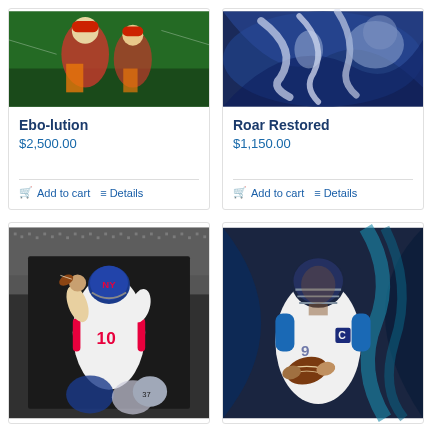[Figure (illustration): Sports art painting of football players, action scene with orange and green colors]
Ebo-lution
$2,500.00
Add to cart
Details
[Figure (illustration): Sports art painting with blue and white swirling colors, lion imagery]
Roar Restored
$1,150.00
Add to cart
Details
[Figure (illustration): Sports art painting of NY Giants football player #10 celebrating, with Patriots defender #37]
[Figure (illustration): Sports art painting of Detroit Lions quarterback holding football, blue and white uniform]